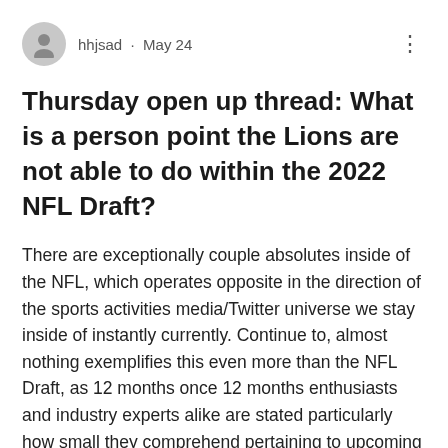hhjsad · May 24
Thursday open up thread: What is a person point the Lions are not able to do within the 2022 NFL Draft?
There are exceptionally couple absolutes inside of the NFL, which operates opposite in the direction of the sports activities media/Twitter universe we stay inside of instantly currently. Continue to, almost nothing exemplifies this even more than the NFL Draft, as 12 months once 12 months enthusiasts and industry experts alike are stated particularly how small they comprehend pertaining to upcoming potential customers and staff members traits.Nonetheless, we incorporate the details in the direction of be at minimum amount a little bit